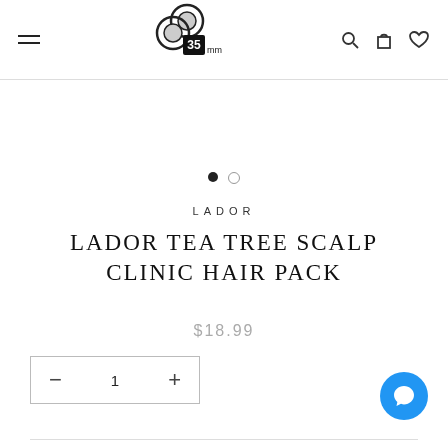35mm store navigation header with hamburger menu, logo, search, cart, and wishlist icons
[Figure (logo): 35mm store logo with film roll circles and text '35mm']
[Figure (other): Carousel navigation dots — one filled black, one empty outline]
LADOR
LADOR TEA TREE SCALP CLINIC HAIR PACK
$18.99
— 1 +
[Figure (other): Blue chat/support bubble icon]